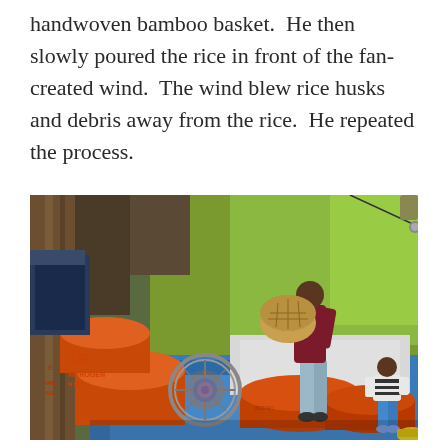handwoven bamboo basket.  He then slowly poured the rice in front of the fan-created wind.  The wind blew rice husks and debris away from the rice.  He repeated the process.
[Figure (photo): A person pouring rice from a handwoven bamboo basket onto a blue tarp on the floor, with orange fertilizer bags labeled 'UREA NITROGEN' visible on the left, a fan in the foreground center, and a small child in the right background. Green trees are visible outside the open shelter.]